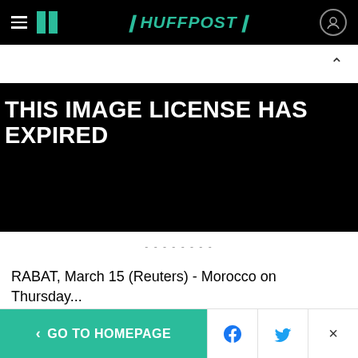HUFFPOST
[Figure (screenshot): Black rectangle with white bold text reading: THIS IMAGE LICENSE HAS EXPIRED]
--------
RABAT, March 15 (Reuters) - Morocco on Thursday...
< GO TO HOMEPAGE